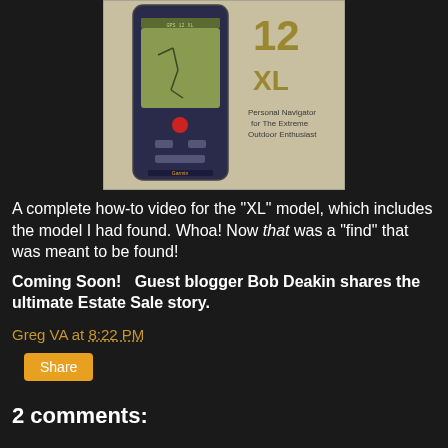[Figure (photo): Photo of a Garmin GPS 12 XL device box/manual showing the handheld GPS unit with a map display and text reading 'Personal Navigator for The Extreme Outdoor Enthusiast']
A complete how-to video for the "XL" model, which includes the model I had found. Whoa! Now that was a "find" that was meant to be found!
Coming Soon!   Guest blogger Bob Deakin shares the ultimate Estate Sale story.
Greg VA at 8:22 PM
Share
2 comments: